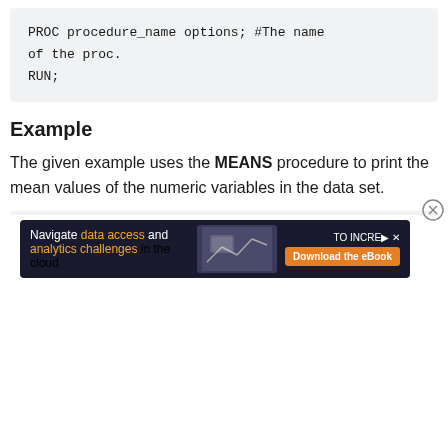PROC procedure_name options; #The name of the proc.
RUN;
Example
The given example uses the MEANS procedure to print the mean values of the numeric variables in the data set.
PROC MEANS;
RUN;
[Figure (other): Advertisement banner: Navigate data access and analytics challenges in the cloud. TO INCRE[...] Download the eBook]